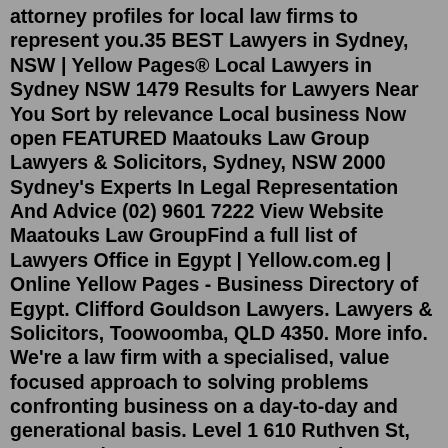attorney profiles for local law firms to represent you.35 BEST Lawyers in Sydney, NSW | Yellow Pages® Local Lawyers in Sydney NSW 1479 Results for Lawyers Near You Sort by relevance Local business Now open FEATURED Maatouks Law Group Lawyers & Solicitors, Sydney, NSW 2000 Sydney's Experts In Legal Representation And Advice (02) 9601 7222 View Website Maatouks Law GroupFind a full list of Lawyers Office in Egypt | Yellow.com.eg | Online Yellow Pages - Business Directory of Egypt. Clifford Gouldson Lawyers. Lawyers & Solicitors, Toowoomba, QLD 4350. More info. We're a law firm with a specialised, value focused approach to solving problems confronting business on a day-to-day and generational basis. Level 1 610 Ruthven St, Toowoomba, QLD, 4350. Locate and compare lawyers-defamation in Longueuil QC, Yellow Pages Local Listings. Find useful information, the address and the phone number of the local business you are looking for. Foreclosure